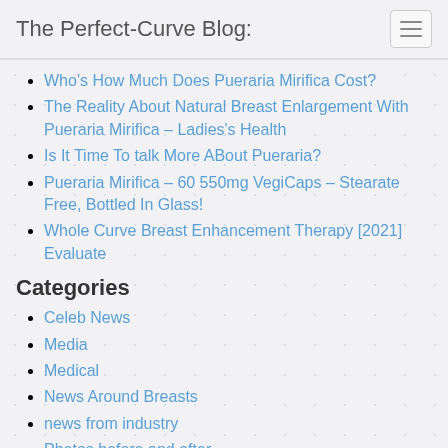The Perfect-Curve Blog:
Who's How Much Does Pueraria Mirifica Cost?
The Reality About Natural Breast Enlargement With Pueraria Mirifica – Ladies's Health
Is It Time To talk More ABout Pueraria?
Pueraria Mirifica – 60 550mg VegiCaps – Stearate Free, Bottled In Glass!
Whole Curve Breast Enhancement Therapy [2021] Evaluate
Categories
Celeb News
Media
Medical
News Around Breasts
news from industry
Photos before and after
Our Ttweets :-)
Perfect-Curve Is For Sale :-(